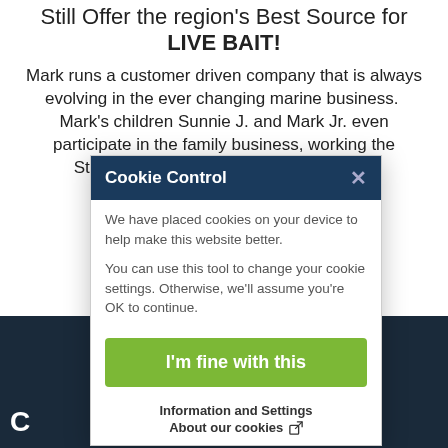Still Offer the region's Best Source for LIVE BAIT!
Mark runs a customer driven company that is always evolving in the ever changing marine business. Mark's children Sunnie J. and Mark Jr. even participate in the family business, working the St... their plan is to grow w... en to serve the Su... utoma and the ... Mark, Sunnie and Ma... hank You for Your ... in Peace . . .
[Figure (screenshot): Cookie Control modal dialog overlay on page content. Header says 'Cookie Control' with an X close button. Body text: 'We have placed cookies on your device to help make this website better. You can use this tool to change your cookie settings. Otherwise, we'll assume you're OK to continue.' Green button: 'I'm fine with this'. Footer: 'Information and Settings' and 'About our cookies' with external link icon.]
Marks Quality Marine
W7488 State Road 21
Wautoma, Wisconsin, US